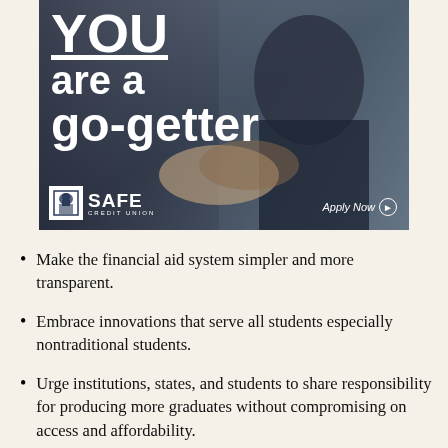[Figure (photo): Advertisement from SAFE Credit Union showing a man in a suit shaking hands, with the text 'YOU are a go-getter' in large bold white letters. The SAFE Credit Union logo and 'Apply Now' button appear at the bottom.]
Make the financial aid system simpler and more transparent.
Embrace innovations that serve all students especially nontraditional students.
Urge institutions, states, and students to share responsibility for producing more graduates without compromising on access and affordability.